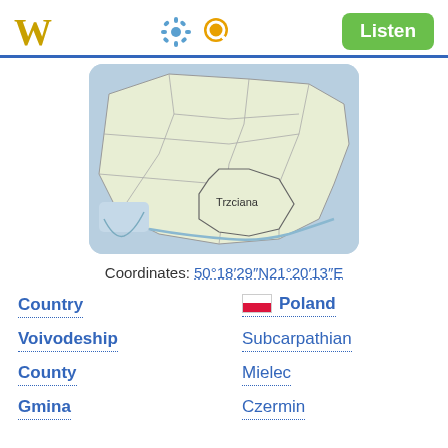W [Wikipedia mobile app header with settings and search icons, Listen button]
[Figure (map): Map of Subcarpathian Voivodeship in Poland with Trzciana labeled]
Coordinates: 50°18′29″N21°20′13″E
| Field | Value |
| --- | --- |
| Country | Poland |
| Voivodeship | Subcarpathian |
| County | Mielec |
| Gmina | Czermin |